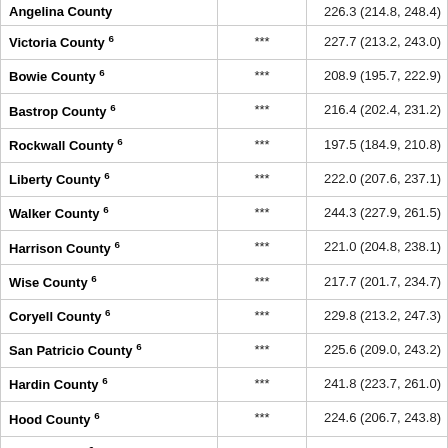| County |  | Value (CI) |
| --- | --- | --- |
| Angelina County |  | 226.3 (214.8, 248.4) |
| Victoria County 6 | *** | 227.7 (213.2, 243.0) |
| Bowie County 6 | *** | 208.9 (195.7, 222.9) |
| Bastrop County 6 | *** | 216.4 (202.4, 231.2) |
| Rockwall County 6 | *** | 197.5 (184.9, 210.8) |
| Liberty County 6 | *** | 222.0 (207.6, 237.1) |
| Walker County 6 | *** | 244.3 (227.9, 261.5) |
| Harrison County 6 | *** | 221.0 (204.8, 238.1) |
| Wise County 6 | *** | 217.7 (201.7, 234.7) |
| Coryell County 6 | *** | 229.8 (213.2, 247.3) |
| San Patricio County 6 | *** | 225.6 (209.0, 243.2) |
| Hardin County 6 | *** | 241.8 (223.7, 261.0) |
| Hood County 6 | *** | 224.6 (206.7, 243.8) |
| Polk County 6 | *** | 233.2 (214.5, 253.2) |
| Van Zandt County 6 | *** | 231.2 (212.9, 250.8) |
| Cherokee County 6 | *** | 257.0 (237.0, 278.3) |
| Rusk County 6 | *** | 228.8 (210.9, 247.8) |